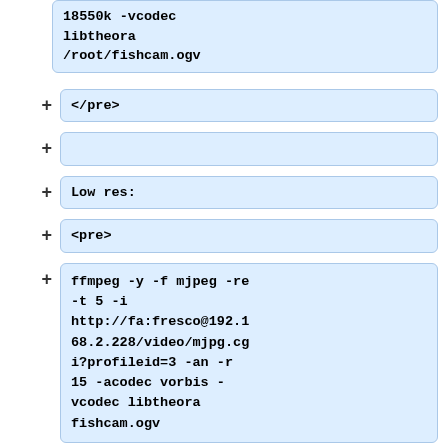18550k -vcodec libtheora /root/fishcam.ogv
</pre>
Low res:
<pre>
ffmpeg -y -f mjpeg -re -t 5 -i http://fa:fresco@192.168.2.228/video/mjpg.cgi?profileid=3 -an -r 15 -acodec vorbis -vcodec libtheora fishcam.ogv
</pre>